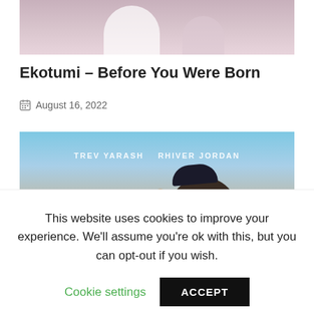[Figure (photo): Partial top photo of a person, cropped, showing light clothing against a white/light background]
Ekotumi – Before You Were Born
August 16, 2022
[Figure (photo): Music cover art showing a person wearing a dark cap and shirt facing away, hand raised, with desert/landscape background. Text reads 'TREV YARASH  RHIVER JORDAN']
This website uses cookies to improve your experience. We'll assume you're ok with this, but you can opt-out if you wish.
Cookie settings   ACCEPT